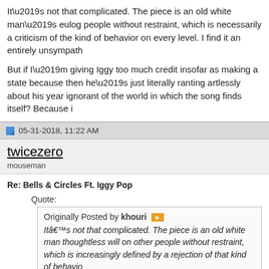It’s not that complicated. The piece is an old white man’s eulog people without restraint, which is necessarily a criticism of the kind of behavior on every level. I find it an entirely unsympath
But if I’m giving Iggy too much credit insofar as making a state because then he’s just literally ranting artlessly about his year ignorant of the world in which the song finds itself? Because i
05-31-2018, 11:22 AM
twicezero
mouseman
Re: Bells & Circles Ft. Iggy Pop
Quote:
Originally Posted by khouri ► Itâ€™s not that complicated. The piece is an old white man thoughtless will on other people without restraint, which is increasingly defined by a rejection of that kind of behavio